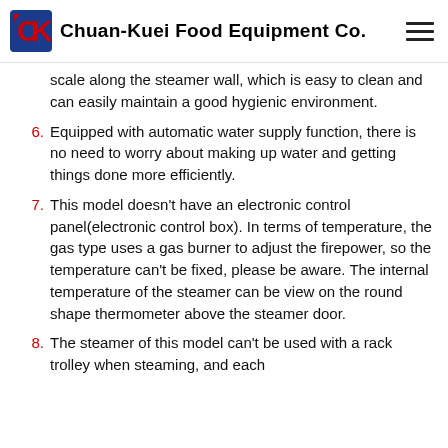Chuan-Kuei Food Equipment Co.
scale along the steamer wall, which is easy to clean and can easily maintain a good hygienic environment.
6. Equipped with automatic water supply function, there is no need to worry about making up water and getting things done more efficiently.
7. This model doesn't have an electronic control panel(electronic control box). In terms of temperature, the gas type uses a gas burner to adjust the firepower, so the temperature can't be fixed, please be aware. The internal temperature of the steamer can be view on the round shape thermometer above the steamer door.
8. The steamer of this model can't be used with a rack trolley when steaming, and each